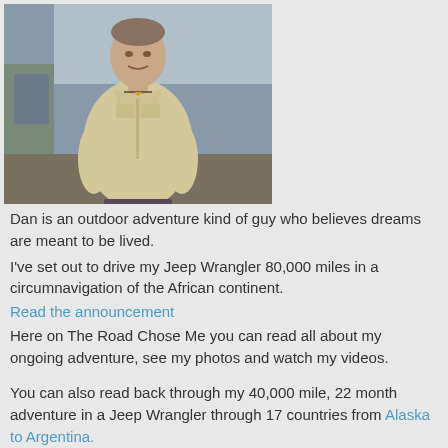[Figure (photo): Man in a beige/khaki shirt standing in front of a Jeep or off-road vehicle, outdoor setting.]
Dan is an outdoor adventure kind of guy who believes dreams are meant to be lived.
I've set out to drive my Jeep Wrangler 80,000 miles in a circumnavigation of the African continent.
Read the announcement
Here on The Road Chose Me you can read all about my ongoing adventure, see my photos and watch my videos.
You can also read back through my 40,000 mile, 22 month adventure in a Jeep Wrangler through 17 countries from Alaska to Argentina.